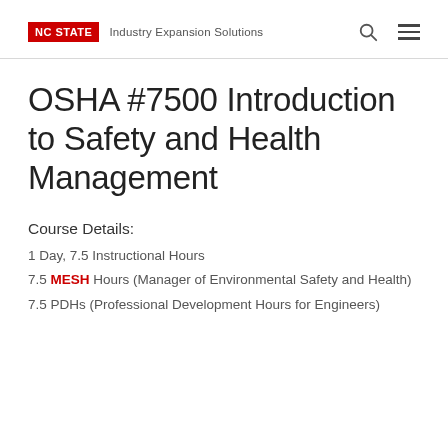NC STATE  Industry Expansion Solutions
OSHA #7500 Introduction to Safety and Health Management
Course Details:
1 Day, 7.5 Instructional Hours
7.5 MESH Hours (Manager of Environmental Safety and Health)
7.5 PDHs (Professional Development Hours for Engineers)